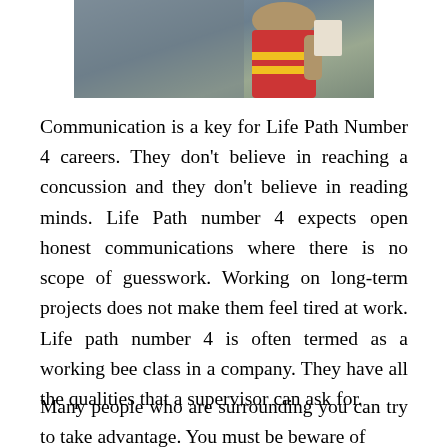[Figure (photo): Partial photo of a person in a red and yellow safety vest, holding papers, against a grey background. Only the upper torso visible.]
Communication is a key for Life Path Number 4 careers. They don't believe in reaching a concussion and they don't believe in reading minds. Life Path number 4 expects open honest communications where there is no scope of guesswork. Working on long-term projects does not make them feel tired at work. Life path number 4 is often termed as a working bee class in a company. They have all the qualities that a supervisor can ask for.
Many people who are surrounding you can try to take advantage. You must be beware of